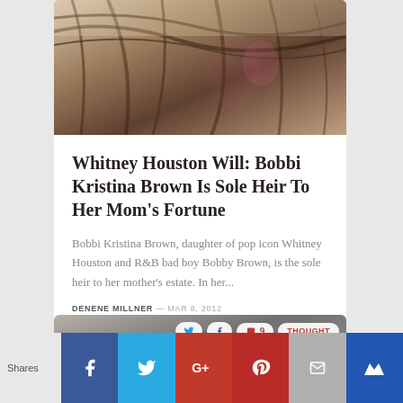[Figure (photo): Photo of person with dark hair, floral clothing, viewed from above]
Whitney Houston Will: Bobbi Kristina Brown Is Sole Heir To Her Mom's Fortune
Bobbi Kristina Brown, daughter of pop icon Whitney Houston and R&B bad boy Bobby Brown, is the sole heir to her mother's estate. In her...
DENENE MILLNER — MAR 8, 2012
[Figure (photo): Black and white photo of curly hair]
Shares | Facebook | Twitter | G+ | Pinterest | Email | Other